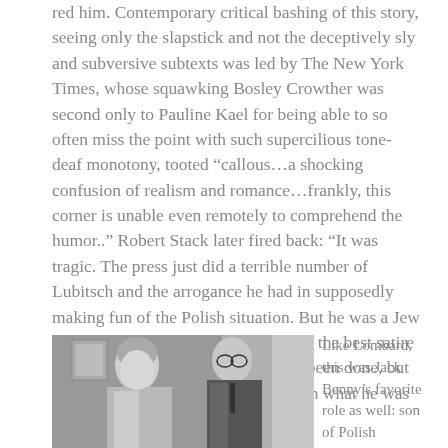red him. Contemporary critical bashing of this story, seeing only the slapstick and not the deceptively sly and subversive subtexts was led by The New York Times, whose squawking Bosley Crowther was second only to Pauline Kael for being able to so often miss the point with such supercilious tone-deaf monotony, tooted “callous…a shocking confusion of realism and romance…frankly, this corner is unable even remotely to comprehend the humor..”  Robert Stack later fired back: “It was tragic. The press just did a terrible number of Lubitsch and the arrogance he had in supposedly making fun of the Polish situation. But he was a Jew from the Old Country himself! It was the best satire and put-down of Nazism that’s ever been done, but they weren’t hip enough to pick up on what he was doing.”
[Figure (photo): Black and white film still showing a woman on the left and a man wearing glasses on the right, likely from a classic Hollywood film.]
Like Lombard, this was Jack Benny’s favorite role as well: son of Polish